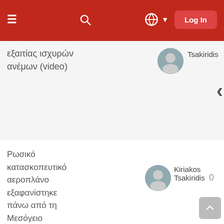Log In
εξαιτίας ισχυρών ανέμων (video)
Tsakiridis
Ρωσικό κατασκοπευτικό αεροπλάνο εξαφανίστηκε πάνω από τη Μεσόγειο
Kiriakos Tsakiridis
0
Τράβηξε σε βίντεο τον φονικό ανεμοστρόβιλο από το αεροπλάνο
Kiriakos Tsakiridis
0